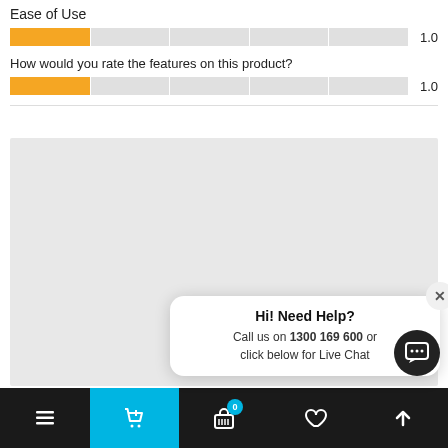Ease of Use
[Figure (bar-chart): Ease of Use]
How would you rate the features on this product?
[Figure (bar-chart): Features rating]
[Figure (screenshot): Grey placeholder box for review content area with a live chat popup overlay. The popup reads 'Hi! Need Help? Call us on 1300 169 600 or click below for Live Chat' with a close (X) button and a dark chat icon button.]
[Figure (screenshot): Bottom navigation bar with hamburger menu, shopping cart (highlighted in blue), basket with badge 0, heart/wishlist, and up arrow icons on dark background.]